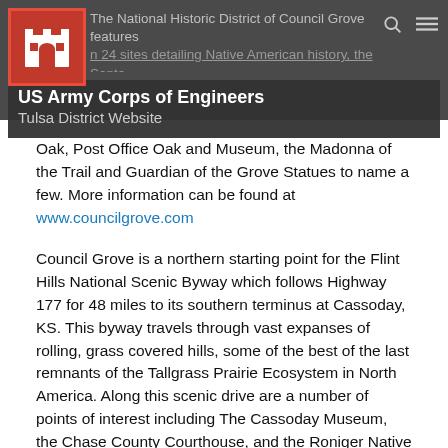US Army Corps of Engineers Tulsa District Website
Oak,  Post Office Oak and Museum, the Madonna of the Trail and Guardian of the Grove Statues to name a few.  More information can be found at www.councilgrove.com
Council Grove is a northern starting point for the Flint Hills National Scenic Byway which follows Highway 177 for 48 miles to its southern terminus at Cassoday, KS.  This byway travels through vast expanses of rolling, grass covered hills, some of the best of the last remnants of the Tallgrass Prairie Ecosystem in North America.  Along this scenic drive are a number of points of interest including The Cassoday Museum, the Chase County Courthouse, and the Roniger Native American Museum.  For more information about the Kansas Flint Hills Scenic Byway visit www.councilgrove.com
The feature point of the Flint Hills National Scenic Byway is the Tallgrass Prairie National Preserve, a component of the